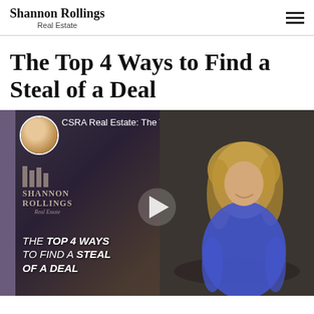Shannon Rollings Real Estate
The Top 4 Ways to Find a Steal of a Deal
[Figure (screenshot): YouTube video thumbnail for 'CSRA Real Estate: The Top 4 Ways...' featuring Shannon Rollings branding, a play button, and a woman in a blue dress seated at a desk. Text overlay reads: THE TOP 4 WAYS TO FIND A STEAL OF A DEAL]